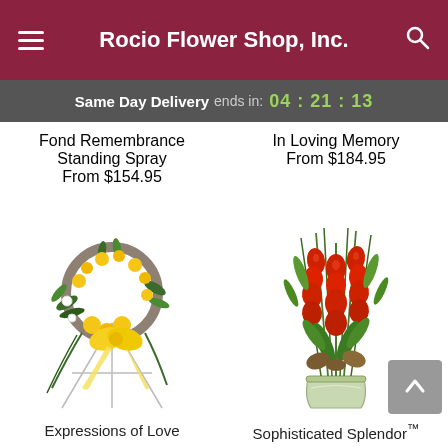Rocio Flower Shop, Inc.
Same Day Delivery ends in: 04:21:13
Fond Remembrance Standing Spray
From $154.95
In Loving Memory
From $184.95
[Figure (illustration): Floral wreath on an easel stand with yellow flowers and a large yellow bow with ribbons]
[Figure (illustration): Tall vase arrangement with red gladiolus flowers and green foliage]
Expressions of Love
Sophisticated Splendor™